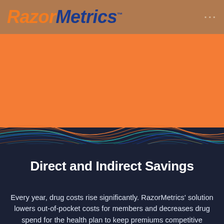RazorMetrics™
[Figure (illustration): Abstract wave graphic with orange upper section transitioning to dark navy lower section, with colorful flowing wave lines (orange, blue, teal) at the boundary between the two sections]
Direct and Indirect Savings
Every year, drug costs rise significantly. RazorMetrics' solution lowers out-of-pocket costs for members and decreases drug spend for the health plan to keep premiums competitive